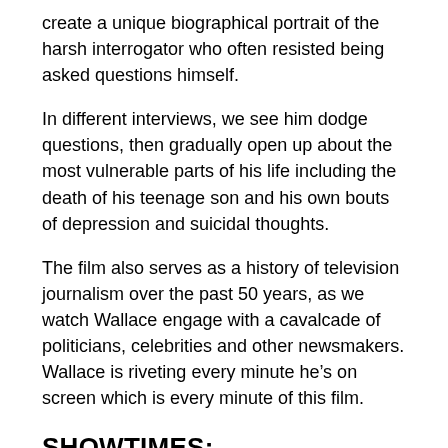create a unique biographical portrait of the harsh interrogator who often resisted being asked questions himself.
In different interviews, we see him dodge questions, then gradually open up about the most vulnerable parts of his life including the death of his teenage son and his own bouts of depression and suicidal thoughts.
The film also serves as a history of television journalism over the past 50 years, as we watch Wallace engage with a cavalcade of politicians, celebrities and other newsmakers. Wallace is riveting every minute he’s on screen which is every minute of this film.
SHOWTIMES:
Wednesday March 6th @ 7:00 PM Coral Gables Art Cinema